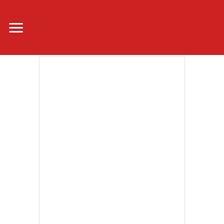≡
[Figure (screenshot): Advertisement placeholder area - white box with border]
Promoted ×
[Figure (photo): Close-up macro photograph of a human eye with golden-brown iris]
How Your Body Warns You That Dementia Is Forming
🔥 40,264
[Figure (photo): Political figures walking, including a man in a suit with mask, with a video play button overlay]
Democrats Want This Video Destroyed — Watch Now Before It's Banned
🔥 206,758